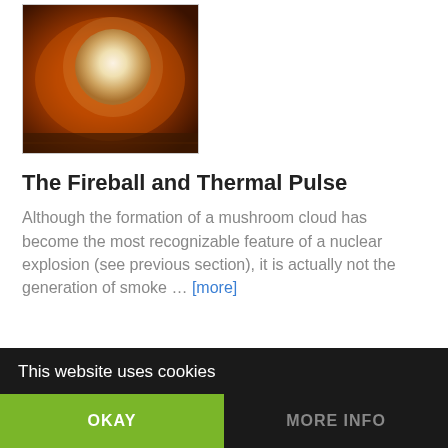[Figure (photo): A fireball or bright glowing sphere against an orange/amber background, resembling a nuclear fireball or sun close-up.]
The Fireball and Thermal Pulse
Although the formation of a mushroom cloud has become the most recognizable feature of a nuclear explosion (see previous section), it is actually not the generation of smoke … [more]
This website uses cookies
OKAY
MORE INFO